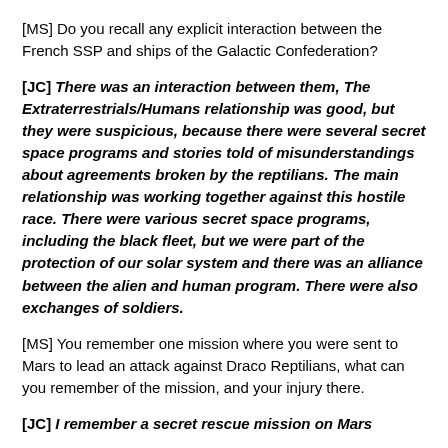[MS] Do you recall any explicit interaction between the French SSP and ships of the Galactic Confederation?
[JC] There was an interaction between them, The Extraterrestrials/Humans relationship was good, but they were suspicious, because there were several secret space programs and stories told of misunderstandings about agreements broken by the reptilians. The main relationship was working together against this hostile race. There were various secret space programs, including the black fleet, but we were part of the protection of our solar system and there was an alliance between the alien and human program. There were also exchanges of soldiers.
[MS] You remember one mission where you were sent to Mars to lead an attack against Draco Reptilians, what can you remember of the mission, and your injury there.
[JC] I remember a secret rescue mission on Mars